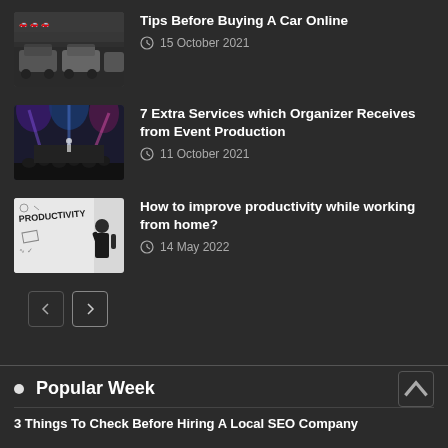[Figure (photo): Row of cars parked in a lot, front view]
Tips Before Buying A Car Online
15 October 2021
[Figure (photo): Concert or event with blue/purple lighting and crowd]
7 Extra Services which Organizer Receives from Event Production
11 October 2021
[Figure (photo): Person standing in front of whiteboard with Productivity written on it]
How to improve productivity while working from home?
14 May 2022
Popular Week
3 Things To Check Before Hiring A Local SEO Company